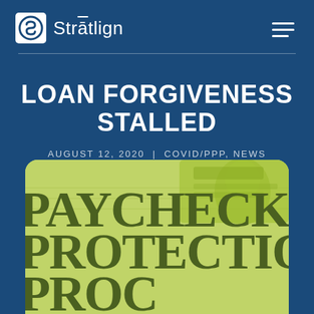[Figure (logo): Stratlign logo with stylized S icon and company name]
LOAN FORGIVENESS STALLED
AUGUST 12, 2020 | COVID/PPP, NEWS
[Figure (photo): Photo of Paycheck Protection Program document with US currency in the background, tinted green]